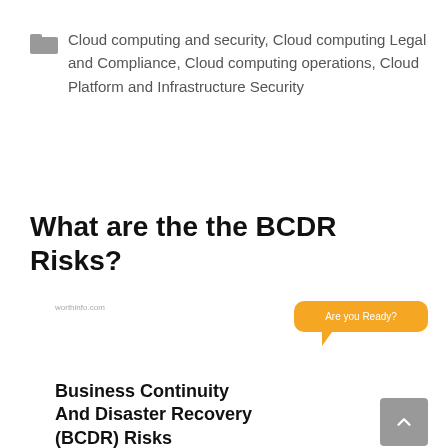Cloud computing and security, Cloud computing Legal and Compliance, Cloud computing operations, Cloud Platform and Infrastructure Security
What are the the BCDR Risks?
[Figure (infographic): Infographic showing a speech bubble saying 'Are you Ready?' in orange, with bold text 'Business Continuity And Disaster Recovery (BCDR) Risks' and a watermark 'worthinfo.com'. A grey scroll-to-top button in bottom right.]